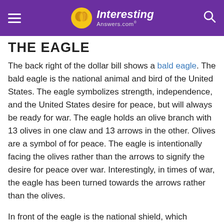Interesting Answers.com
THE EAGLE
The back right of the dollar bill shows a bald eagle. The bald eagle is the national animal and bird of the United States. The eagle symbolizes strength, independence, and the United States desire for peace, but will always be ready for war. The eagle holds an olive branch with 13 olives in one claw and 13 arrows in the other. Olives are a symbol of for peace. The eagle is intentionally facing the olives rather than the arrows to signify the desire for peace over war. Interestingly, in times of war, the eagle has been turned towards the arrows rather than the olives.
In front of the eagle is the national shield, which includes 13 vertical stripes to symbolize the 13 original states joined under one force.